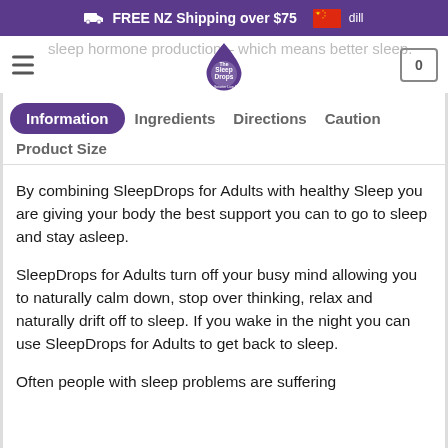FREE NZ Shipping over $75
sleep hormone production – which means better sleep.
Information  Ingredients  Directions  Caution  Product Size
By combining SleepDrops for Adults with healthy Sleep you are giving your body the best support you can to go to sleep and stay asleep.
SleepDrops for Adults turn off your busy mind allowing you to naturally calm down, stop over thinking, relax and naturally drift off to sleep. If you wake in the night you can use SleepDrops for Adults to get back to sleep.
Often people with sleep problems are suffering